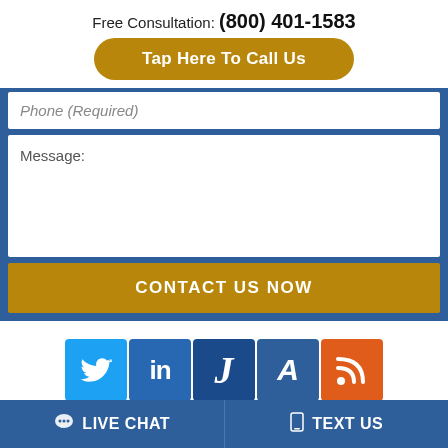Free Consultation: (800) 401-1583
Tap Here To Call Us
Phone (Required)
Message:
CONTACT US NOW
[Figure (screenshot): Social media icons: Twitter (blue bird), LinkedIn (in), Justia (J), Avvo (A), RSS feed (orange)]
LIVE CHAT
TEXT US